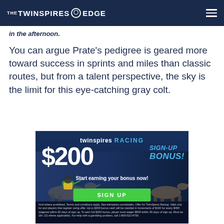THE TWINSPIRES EDGE
in the afternoon.
You can argue Prate's pedigree is geared more toward success in sprints and miles than classic routes, but from a talent perspective, the sky is the limit for this eye-catching gray colt.
[Figure (infographic): TwinSpires Racing $200 Sign-Up Bonus advertisement. Shows a jockey on a horse, with text '$200 SIGN-UP BONUS! Start earning your bonus now!' and a green SIGN UP button. Fine print at the bottom.]